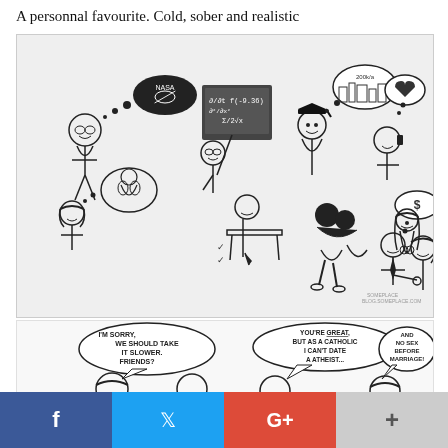A personnal favourite. Cold, sober and realistic
[Figure (illustration): A multi-panel comic illustration showing various people thinking about different things: NASA logo, math equations, graduation cap thinking about city/job, person thinking about heart, businessman thinking about money, woman thinking about muscular man, student at desk, couple embracing, woman in provocative pose, two people shaking hands. Bottom scene shows two couples in conversation with speech bubbles.]
[Figure (illustration): Bottom comic panel: Left side shows a couple with speech bubble 'I'M SORRY, WE SHOULD TAKE IT SLOWER. FRIENDS?' Right side shows a man and woman with speech bubbles 'YOU'RE GREAT, BUT AS A CATHOLIC I CAN'T DATE A ATHEIST...' and 'AND NO SEX BEFORE MARRIAGE!']